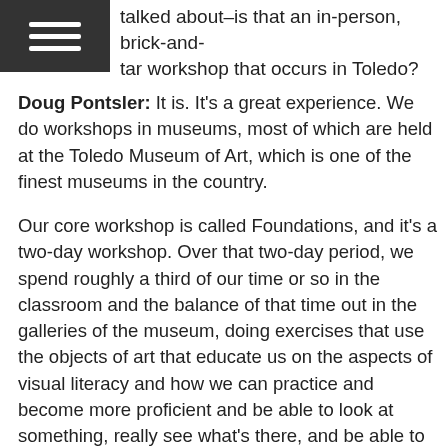talked about–is that an in-person, brick-and-tar workshop that occurs in Toledo?
Doug Pontsler: It is. It's a great experience. We do workshops in museums, most of which are held at the Toledo Museum of Art, which is one of the finest museums in the country.
Our core workshop is called Foundations, and it's a two-day workshop. Over that two-day period, we spend roughly a third of our time or so in the classroom and the balance of that time out in the galleries of the museum, doing exercises that use the objects of art that educate us on the aspects of visual literacy and how we can practice and become more proficient and be able to look at something, really see what's there, and be able to interpret in a more accurate way what that actually means.
Convergence Training: Well, cool. I would love to go